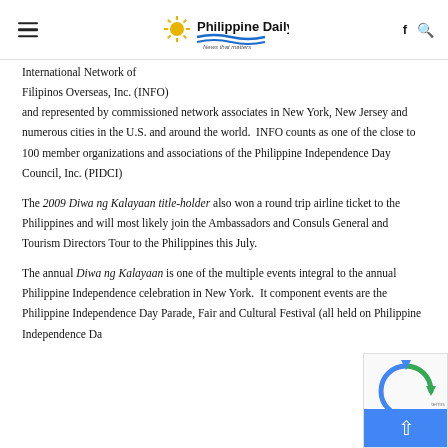Philippine Daily Mirror — News that matters
International Network of Filipinos Overseas, Inc. (INFO) and represented by commissioned network associates in New York, New Jersey and numerous cities in the U.S. and around the world.  INFO counts as one of the close to 100 member organizations and associations of the Philippine Independence Day Council, Inc. (PIDCI)
The 2009 Diwa ng Kalayaan title-holder also won a round trip airline ticket to the Philippines and will most likely join the Ambassadors and Consuls General and Tourism Directors Tour to the Philippines this July.
The annual Diwa ng Kalayaan is one of the multiple events integral to the annual Philippine Independence celebration in New York.  It component events are the Philippine Independence Day Parade, Fair and Cultural Festival (all held on Philippine Independence Da…